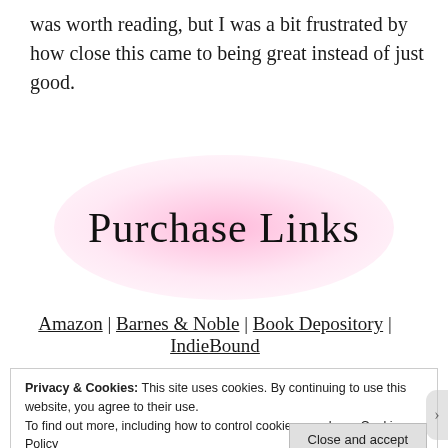was worth reading, but I was a bit frustrated by how close this came to being great instead of just good.
[Figure (illustration): Pink glowing background with cursive text 'Purchase Links']
Amazon | Barnes & Noble | Book Depository | IndieBound
Privacy & Cookies: This site uses cookies. By continuing to use this website, you agree to their use.
To find out more, including how to control cookies, see here: Cookie Policy
Close and accept